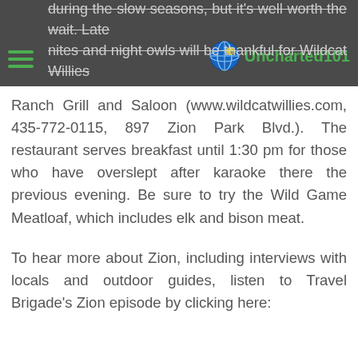during the slow seasons, but it's well worth the wait. Late nites and night owls will be thankful for Wildcat Willies
Ranch Grill and Saloon (www.wildcatwillies.com, 435-772-0115, 897 Zion Park Blvd.). The restaurant serves breakfast until 1:30 pm for those who have overslept after karaoke there the previous evening. Be sure to try the Wild Game Meatloaf, which includes elk and bison meat.
To hear more about Zion, including interviews with locals and outdoor guides, listen to Travel Brigade's Zion episode by clicking here: